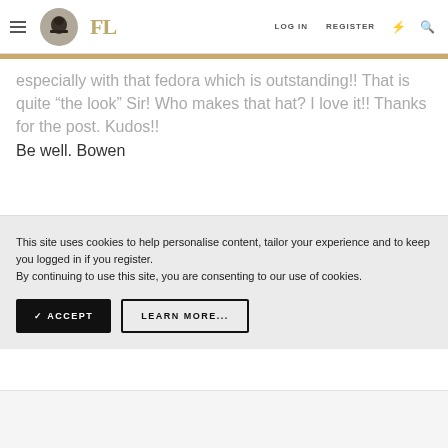FL | LOG IN | REGISTER
especially with that fedora which is outstanding!! That is quite “the look” Sir! Who makes that hat? I love it!! Thanks for the post. Kudos!!
Be well. Bowen
This site uses cookies to help personalise content, tailor your experience and to keep you logged in if you register.
By continuing to use this site, you are consenting to our use of cookies.